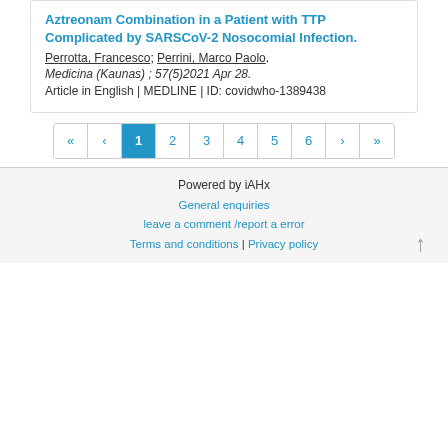Aztreonam Combination in a Patient with TTP Complicated by SARSCoV-2 Nosocomial Infection.
Perrotta, Francesco; Perrini, Marco Paolo. Medicina (Kaunas) ; 57(5)2021 Apr 28. Article in English | MEDLINE | ID: covidwho-1389438
Pagination: « ‹ 1 2 3 4 5 6 › »
Powered by iAHx | General enquiries | leave a comment /report a error | Terms and conditions | Privacy policy